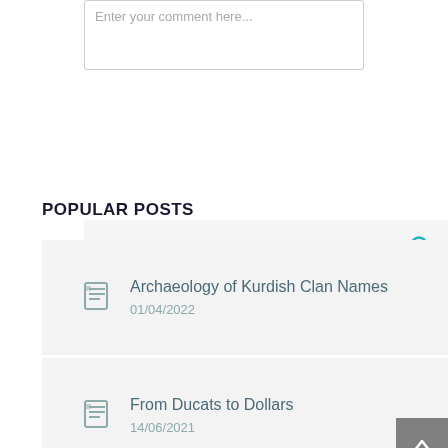[Figure (screenshot): Comment text input box with placeholder text 'Enter your comment here...']
[Figure (screenshot): Search bar with teal magnifying glass icon on right]
POPULAR POSTS
Archaeology of Kurdish Clan Names
01/04/2022
From Ducats to Dollars
14/06/2021